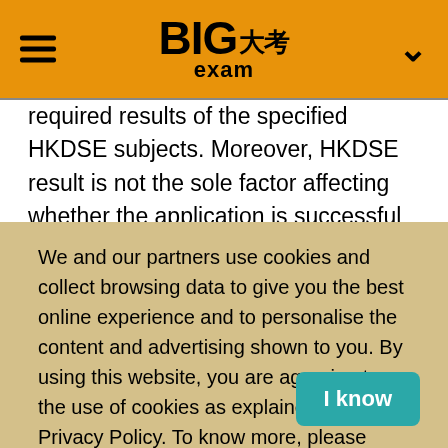BIG大考exam
required results of the specified HKDSE subjects. Moreover, HKDSE result is not the sole factor affecting whether the application is successful or not. Competitiveness of the programmes, performance at interviews or test, order of JUPAS programme choices, candidates' Student Learning Profile, other non-academic achievements, etc. are also important factors. Some programmes have no Admission Score Index because they are firstly offered and hence no admission scores of the past years; or the institutions do not
We and our partners use cookies and collect browsing data to give you the best online experience and to personalise the content and advertising shown to you. By using this website, you are agreeing to the use of cookies as explained in our Privacy Policy. To know more, please visit: Privacy Policy